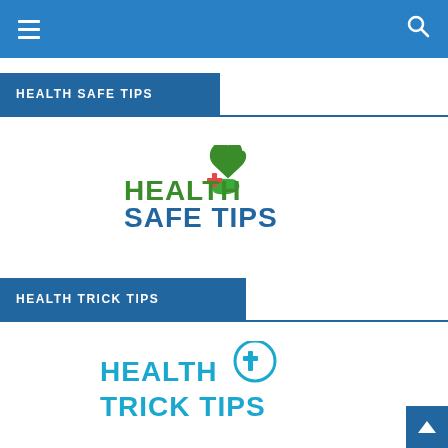Navigation bar with hamburger menu and search icon
HEALTH SAFE TIPS
[Figure (logo): Health Safe Tips logo with green text and a hand/heart graphic with a red plus sign]
HEALTH TRICK TIPS
[Figure (logo): Health Trick Tips logo with blue text and a circular medical cross icon]